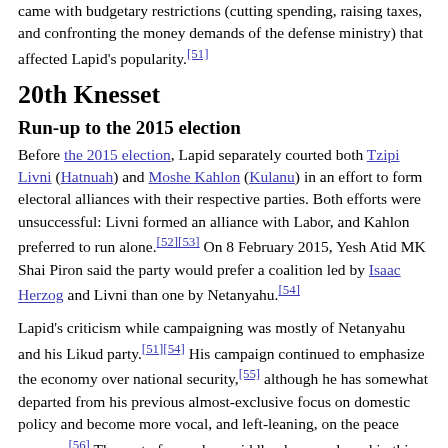came with budgetary restrictions (cutting spending, raising taxes, and confronting the money demands of the defense ministry) that affected Lapid's popularity.[51]
20th Knesset
Run-up to the 2015 election
Before the 2015 election, Lapid separately courted both Tzipi Livni (Hatnuah) and Moshe Kahlon (Kulanu) in an effort to form electoral alliances with their respective parties. Both efforts were unsuccessful: Livni formed an alliance with Labor, and Kahlon preferred to run alone.[52][53] On 8 February 2015, Yesh Atid MK Shai Piron said the party would prefer a coalition led by Isaac Herzog and Livni than one by Netanyahu.[54]
Lapid's criticism while campaigning was mostly of Netanyahu and his Likud party.[51][54] His campaign continued to emphasize the economy over national security,[55] although he has somewhat departed from his previous almost-exclusive focus on domestic policy and become more vocal, and left-leaning, on the peace process.[56] The party focused on middle-class needs and in this respect was very similar to Kahlon's new Kulanu party.[57]